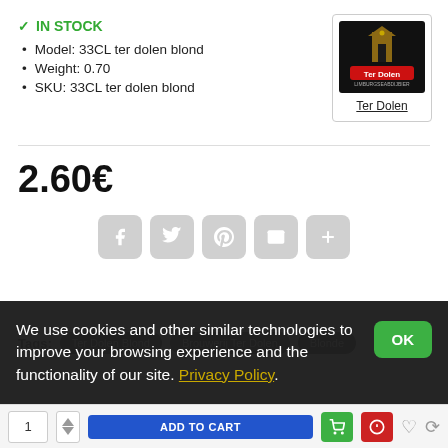✓ IN STOCK
Model: 33CL ter dolen blond
Weight: 0.70
SKU: 33CL ter dolen blond
[Figure (logo): Ter Dolen brewery logo on black background with brand text]
Ter Dolen
2.60€
[Figure (infographic): Social sharing icons: Facebook, Twitter, Pinterest, Email, Plus]
Tags: Ter Dolen Blond  Brouwerij Ter Dolen  Blonde
We use cookies and other similar technologies to improve your browsing experience and the functionality of our site. Privacy Policy.
OK
1  ADD TO CART